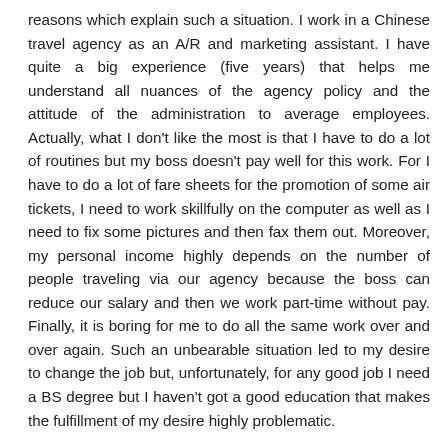reasons which explain such a situation. I work in a Chinese travel agency as an A/R and marketing assistant. I have quite a big experience (five years) that helps me understand all nuances of the agency policy and the attitude of the administration to average employees. Actually, what I don't like the most is that I have to do a lot of routines but my boss doesn't pay well for this work. For I have to do a lot of fare sheets for the promotion of some air tickets, I need to work skillfully on the computer as well as I need to fix some pictures and then fax them out. Moreover, my personal income highly depends on the number of people traveling via our agency because the boss can reduce our salary and then we work part-time without pay. Finally, it is boring for me to do all the same work over and over again. Such an unbearable situation led to my desire to change the job but, unfortunately, for any good job I need a BS degree but I haven't got a good education that makes the fulfillment of my desire highly problematic.
One more reason that contributes to my decision to change the job is a different job that I adore. This job is in the field of information technology that is why I study this field of